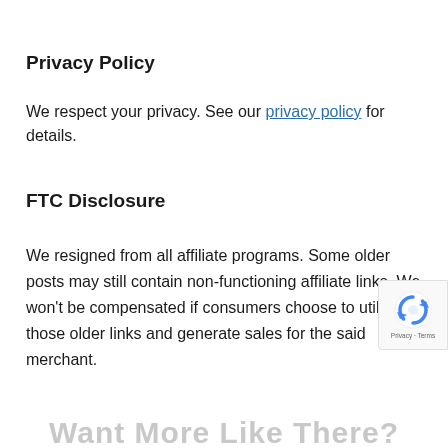Privacy Policy
We respect your privacy. See our privacy policy for details.
FTC Disclosure
We resigned from all affiliate programs. Some older posts may still contain non-functioning affiliate links. We won’t be compensated if consumers choose to utilize those older links and generate sales for the said merchant.
[Figure (logo): reCAPTCHA badge with Privacy + Terms text]
Want More Like There?